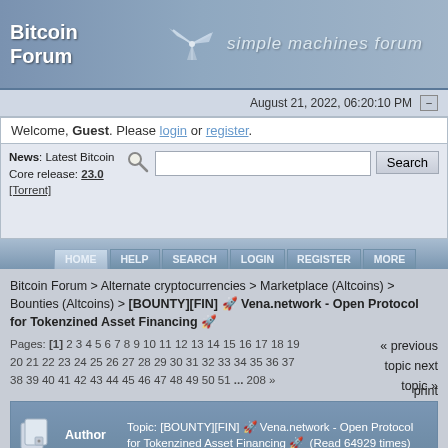Bitcoin Forum — simple machines forum
August 21, 2022, 06:20:10 PM
Welcome, Guest. Please login or register.
News: Latest Bitcoin Core release: 23.0 [Torrent]
HOME HELP SEARCH LOGIN REGISTER MORE
Bitcoin Forum > Alternate cryptocurrencies > Marketplace (Altcoins) > Bounties (Altcoins) > [BOUNTY][FIN] 🚀 Vena.network - Open Protocol for Tokenzined Asset Financing 🚀
« previous topic next topic »
Pages: [1] 2 3 4 5 6 7 8 9 10 11 12 13 14 15 16 17 18 19 20 21 22 23 24 25 26 27 28 29 30 31 32 33 34 35 36 37 38 39 40 41 42 43 44 45 46 47 48 49 50 51 ... 208 »
print
| (icon) | Author | Topic: [BOUNTY][FIN] 🚀 Vena.network - Open Protocol for Tokenzined Asset Financing 🚀 (Read 64929 times) |
| --- | --- | --- |
| Lauda | [BOUNTY][FIN] 🚀 Vena.network - Open |